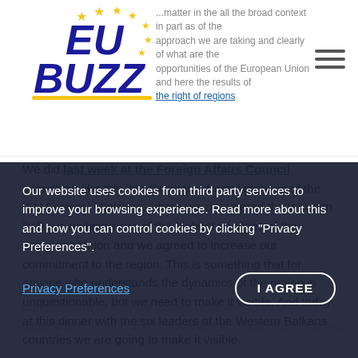[Figure (logo): EU Buzz logo with blue italic text and yellow stars]
last week at the Foreign Affairs Council something like this, but this was a formal meeting of the [EU Foreign] Ministers, where we considered the Western Balkans as being one of the highest priorities of the European Union and we agreed to increase our commitment to the region. This is something that for anyone who understands the dynamics of the region is unquestionable, but we need to make it visible. And today at this dinner with the six leaders of the Western Balkans countries we are going to make it visible.
Our website uses cookies from third party services to improve your browsing experience. Read more about this and how you can control cookies by clicking "Privacy Preferences".
Privacy Preferences
I AGREE